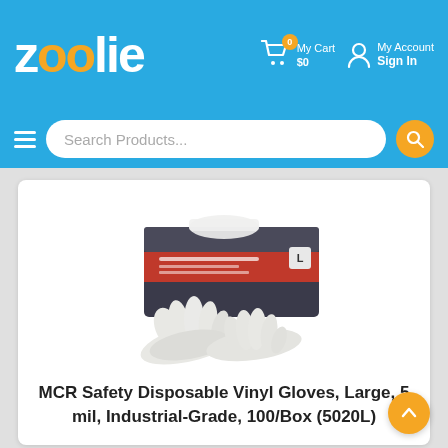[Figure (logo): Zoolie logo in white text with orange double-o letters on blue background]
My Cart $0   My Account Sign In
Search Products...
[Figure (photo): MCR Safety disposable vinyl gloves product photo showing a dark box with white gloves pulled out]
MCR Safety Disposable Vinyl Gloves, Large, 5 mil, Industrial-Grade, 100/Box (5020L)